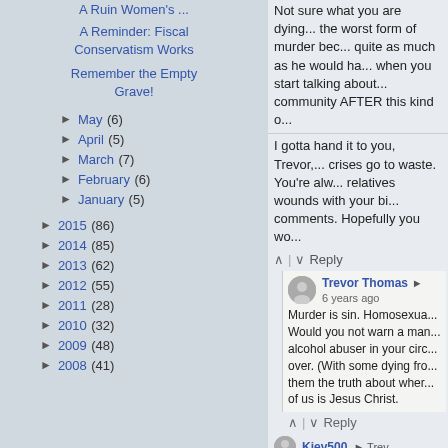A Reminder: Fiscal Conservatism Works
Remember the Empty Grave!
► May (6)
► April (5)
► March (7)
► February (6)
► January (5)
► 2015 (86)
► 2014 (85)
► 2013 (62)
► 2012 (55)
► 2011 (28)
► 2010 (32)
► 2009 (48)
► 2008 (41)
Not sure what you are saying... the worst form of murder bec... quite as much as he would ha... when you start talking about... community AFTER this kind o...
I gotta hand it to you, Trevor,... crises go to waste. You're alw... relatives wounds with your bi... comments. Hopefully you wo...
Reply
Trevor Thomas • 6 years ago — Murder is sin. Homosexua... Would you not warn a man... alcohol abuser in your circ... over. (With some dying fro... them the truth about wher... of us is Jesus Christ.
Reply
Kiev500 • Trev...